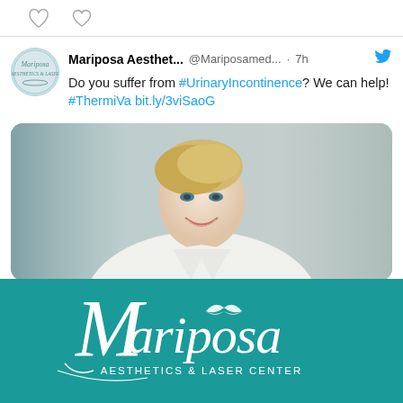[Figure (screenshot): Social media icons row: comment bubble and heart icons]
Mariposa Aesthet... @Mariposamed... · 7h
Do you suffer from #UrinaryIncontinence? We can help! #ThermiVa bit.ly/3viSaoG
[Figure (photo): Smiling middle-aged blonde woman in white jacket, portrait photo]
[Figure (logo): Mariposa Aesthetics & Laser Center logo on teal background]